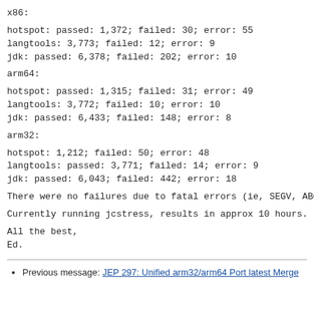x86:

hotspot: passed: 1,372; failed: 30; error: 55
langtools: 3,773; failed: 12; error: 9
jdk: passed: 6,378; failed: 202; error: 10

arm64:

hotspot: passed: 1,315; failed: 31; error: 49
langtools: 3,772; failed: 10; error: 10
jdk: passed: 6,433; failed: 148; error: 8

arm32:

hotspot: 1,212; failed: 50; error: 48
langtools: passed: 3,771; failed: 14; error: 9
jdk: passed: 6,043; failed: 442; error: 18

There were no failures due to fatal errors (ie, SEGV, ABO

Currently running jcstress, results in approx 10 hours.

All the best,
Ed.
Previous message: JEP 297: Unified arm32/arm64 Port latest Merge